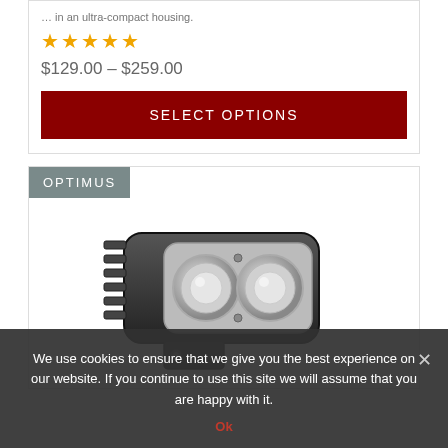… in an ultra-compact housing.
★★★★★
$129.00 – $259.00
SELECT OPTIONS
OPTIMUS
[Figure (photo): Photo of a dual-lens LED light pod (Optimus) with black housing viewed from a 3/4 angle, showing two large round reflectors inside a rugged rectangular casing with mounting bracket.]
We use cookies to ensure that we give you the best experience on our website. If you continue to use this site we will assume that you are happy with it.
Ok